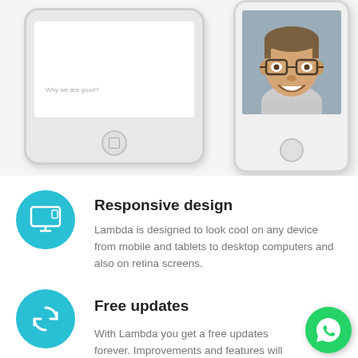[Figure (illustration): Two smartphone mockups side by side. Left phone shows a screen with text 'Why we are good?' and a home button. Right phone shows a smiling man with glasses on screen and a home button.]
Responsive design
Lambda is designed to look cool on any device from mobile and tablets to desktop computers and also on retina screens.
Free updates
With Lambda you get a free updates forever. Improvements and features will be added to make